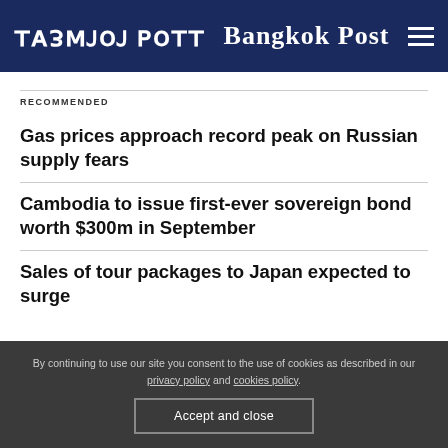Bangkok Post
RECOMMENDED
Gas prices approach record peak on Russian supply fears
Cambodia to issue first-ever sovereign bond worth $300m in September
Sales of tour packages to Japan expected to surge
By continuing to use our site you consent to the use of cookies as described in our privacy policy and cookies policy.
Accept and close